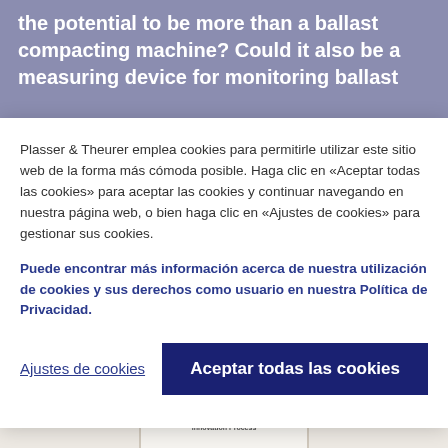the potential to be more than a ballast compacting machine? Could it also be a measuring device for monitoring ballast
Plasser & Theurer emplea cookies para permitirle utilizar este sitio web de la forma más cómoda posible. Haga clic en «Aceptar todas las cookies» para aceptar las cookies y continuar navegando en nuestra página web, o bien haga clic en «Ajustes de cookies» para gestionar sus cookies.
Puede encontrar más información acerca de nuestra utilización de cookies y sus derechos como usuario en nuestra Política de Privacidad.
Ajustes de cookies
Aceptar todas las cookies
[Figure (other): Bottom strip showing book covers including one with title 'From Research to Benefits: How to Accelerate the Innovation Process' with tag [05_10]]